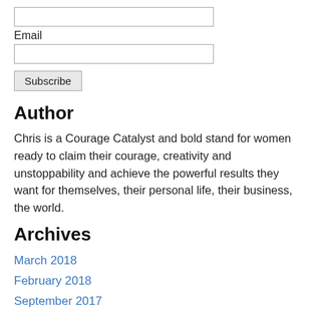[Figure (other): Email input field (text box)]
Email
[Figure (other): Email text input box]
Subscribe
Author
Chris is a Courage Catalyst and bold stand for women ready to claim their courage, creativity and unstoppability and achieve the powerful results they want for themselves, their personal life, their business, the world.
Archives
March 2018
February 2018
September 2017
December 2016
November 2016
October 2016
September 2016
August 2016
June 2016